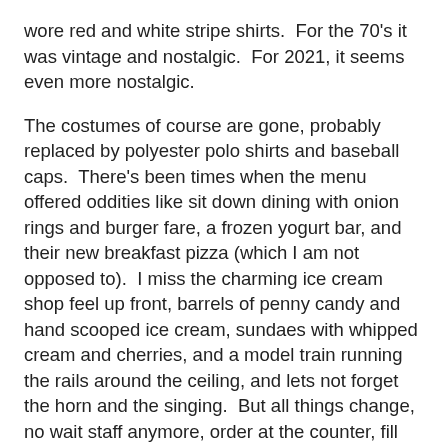wore red and white stripe shirts.  For the 70's it was vintage and nostalgic.  For 2021, it seems even more nostalgic.
The costumes of course are gone, probably replaced by polyester polo shirts and baseball caps.  There's been times when the menu offered oddities like sit down dining with onion rings and burger fare, a frozen yogurt bar, and their new breakfast pizza (which I am not opposed to).  I miss the charming ice cream shop feel up front, barrels of penny candy and hand scooped ice cream, sundaes with whipped cream and cherries, and a model train running the rails around the ceiling, and lets not forget the horn and the singing.  But all things change, no wait staff anymore, order at the counter, fill your own drink, no trains, no horns, no ice cream parlor feel.  I miss the old ways, honestly.  But the pizza hasn't changed.  I still order an extra taco pizza and freeze it for the trip home.  I still ask for extra taco sauce because it's delicious and I can never have enough.
My Happy Joe's friend is coming to visit, so I thought we'd brush up on the pizza before I made it for him.  Here's how this version went. Note that the Publix dough is one of my